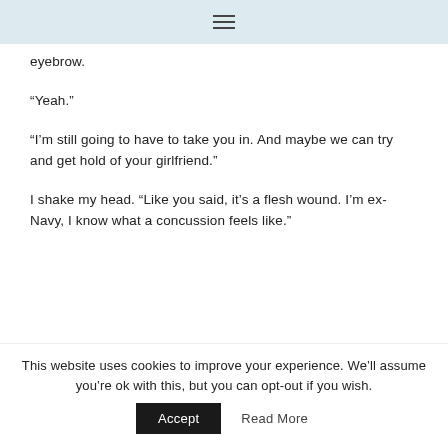☰
eyebrow.
“Yeah.”
“I’m still going to have to take you in. And maybe we can try and get hold of your girlfriend.”
I shake my head. “Like you said, it’s a flesh wound. I’m ex-Navy, I know what a concussion feels like.”
This website uses cookies to improve your experience. We’ll assume you’re ok with this, but you can opt-out if you wish.
Accept
Read More